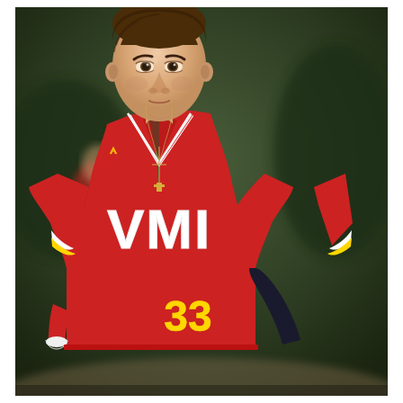[Figure (photo): A young male baseball player wearing a red VMI (Virginia Military Institute) jersey with number 33 in yellow, white lettering spelling VMI on the chest, Under Armour logo, gold and white sleeve trim, wearing a cross necklace and dark compression sleeve on one arm. He is standing on a baseball field with a blurred green and red background. Another player in red is blurred in the background.]